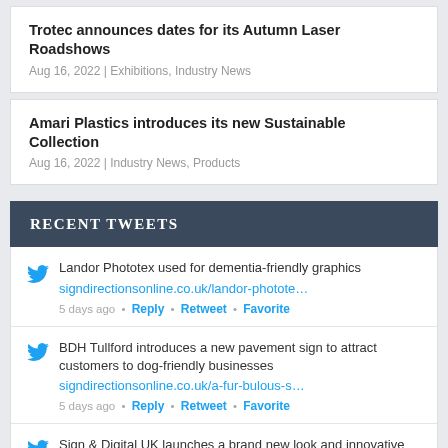Trotec announces dates for its Autumn Laser Roadshows
Aug 16, 2022 | Exhibitions, Industry News
Amari Plastics introduces its new Sustainable Collection
Aug 16, 2022 | Industry News, Products
RECENT TWEETS
Landor Phototex used for dementia-friendly graphics signdirectionsonline.co.uk/landor-photote… 5 days ago • Reply • Retweet • Favorite
BDH Tullford introduces a new pavement sign to attract customers to dog-friendly businesses signdirectionsonline.co.uk/a-fur-bulous-s… 5 days ago • Reply • Retweet • Favorite
Sign & Digital UK launches a brand new look and innovative new features for the 2023 event next March